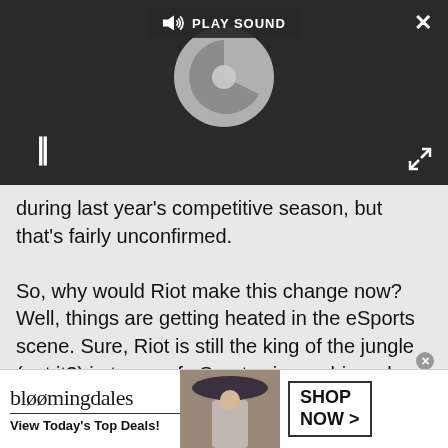[Figure (screenshot): Video player UI with dark background, play sound bar at top, spinning loader circle in center, pause button at bottom left, close X at top right, and expand icon at bottom right.]
during last year's competitive season, but that's fairly unconfirmed.

So, why would Riot make this change now? Well, things are getting heated in the eSports scene. Sure, Riot is still the king of the jungle (get it?) in terms of eSports viewership--a lead that's growing every day--but there are definitely those who are carving out their piece of the pie. This summer's Dota 2 world championship tournament The International 2013
[Figure (screenshot): Bloomingdale's advertisement banner: logo on left, model wearing hat in center, SHOP NOW button on right. Tagline: View Today's Top Deals!]